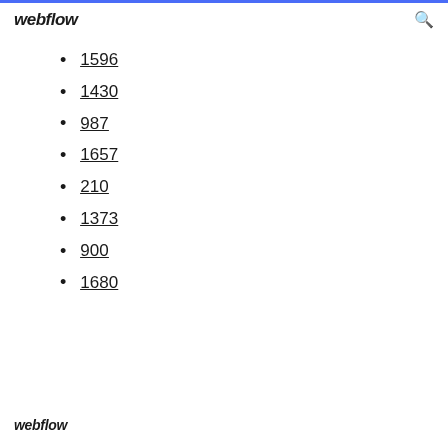webflow
1596
1430
987
1657
210
1373
900
1680
webflow